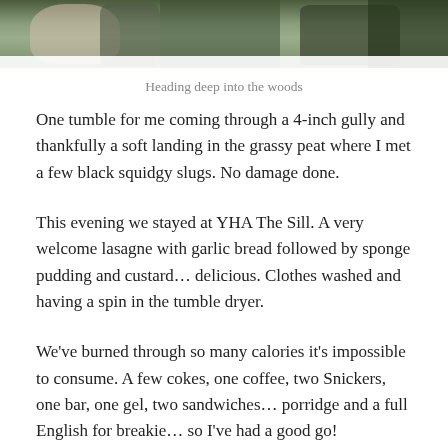[Figure (photo): Photograph of people with equipment heading into woods, partially cropped at top of page]
Heading deep into the woods
One tumble for me coming through a 4-inch gully and thankfully a soft landing in the grassy peat where I met a few black squidgy slugs. No damage done.
This evening we stayed at YHA The Sill. A very welcome lasagne with garlic bread followed by sponge pudding and custard… delicious. Clothes washed and having a spin in the tumble dryer.
We've burned through so many calories it's impossible to consume. A few cokes, one coffee, two Snickers, one bar, one gel, two sandwiches… porridge and a full English for breakie… so I've had a good go!
Painkillers and a big sleep, in preparation for tomorrow.